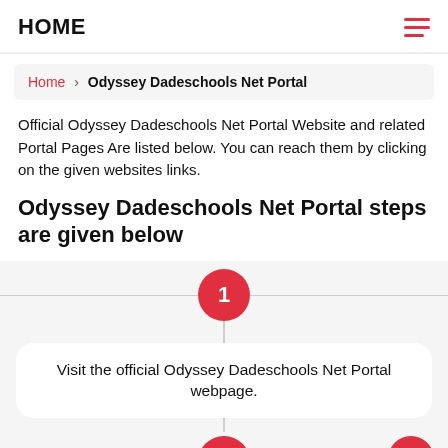HOME
Home › Odyssey Dadeschools Net Portal
Official Odyssey Dadeschools Net Portal Website and related Portal Pages Are listed below. You can reach them by clicking on the given websites links.
Odyssey Dadeschools Net Portal steps are given below
1 — Visit the official Odyssey Dadeschools Net Portal webpage.